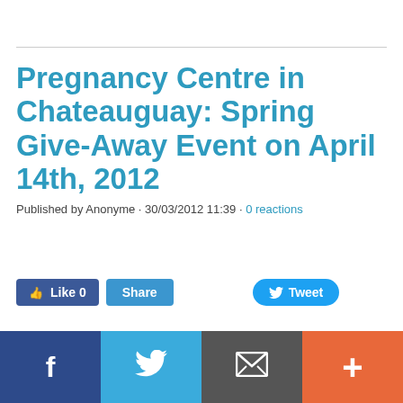Pregnancy Centre in Chateauguay: Spring Give-Away Event on April 14th, 2012
Published by Anonyme · 30/03/2012 11:39 · 0 reactions
[Figure (screenshot): Social share buttons: Like 0, Share, Tweet]
[Figure (photo): Broken/placeholder image on left side]
A special notification for all mothers and pregnant women in Chateauguay, Québec:
[Figure (screenshot): Bottom social sharing bar with Facebook, Twitter, email, and plus buttons]